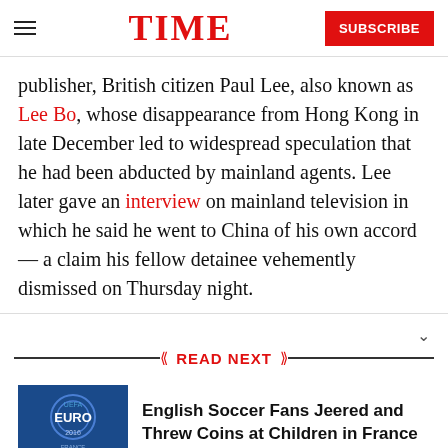TIME | SUBSCRIBE
publisher, British citizen Paul Lee, also known as Lee Bo, whose disappearance from Hong Kong in late December led to widespread speculation that he had been abducted by mainland agents. Lee later gave an interview on mainland television in which he said he went to China of his own accord — a claim his fellow detainee vehemently dismissed on Thursday night.
READ NEXT
[Figure (photo): UEFA Euro 2016 logo on blue background]
English Soccer Fans Jeered and Threw Coins at Children in France